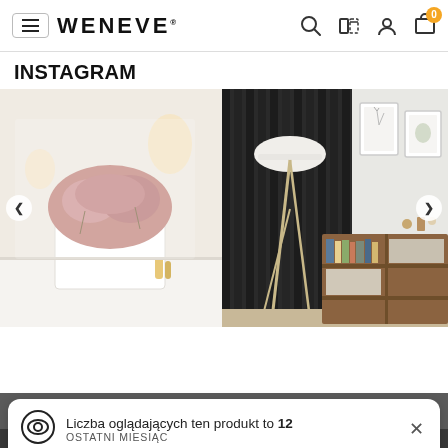WENEVE — navigation header with menu, logo, search, compare, account, cart icons
INSTAGRAM
[Figure (photo): Instagram photo gallery carousel showing two home decor images: left image shows a white planter with pink heather flowers on a white shelf; right image shows a modern living room with a tripod floor lamp, dark wood slat wall, floating artwork frames, and a wooden bookcase with books and decorative items. Navigation arrows on left and right sides.]
Liczba oglądających ten produkt to 12
OSTATNI MIESIĄC
powered by edrone
I accept